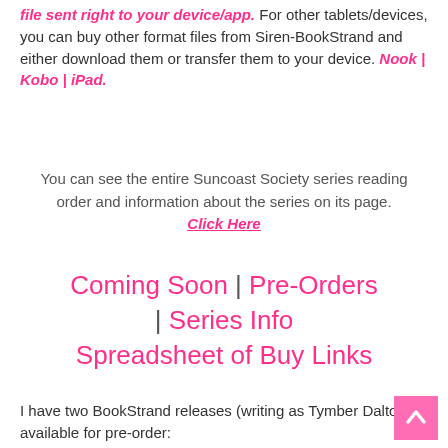file sent right to your device/app. For other tablets/devices, you can buy other format files from Siren-BookStrand and either download them or transfer them to your device. Nook | Kobo | iPad.
You can see the entire Suncoast Society series reading order and information about the series on its page. Click Here
Coming Soon | Pre-Orders | Series Info Spreadsheet of Buy Links
I have two BookStrand releases (writing as Tymber Dalton) available for pre-order: